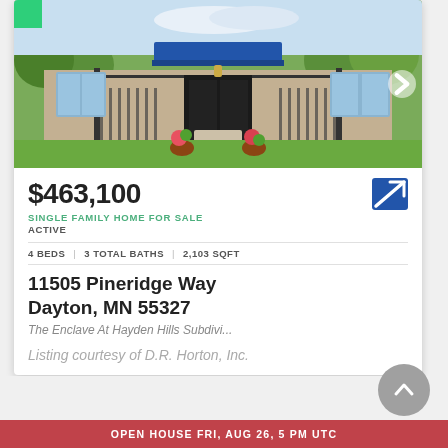[Figure (photo): Exterior photo of a single family home with blue awning, stone facade, iron gate, and green lawn with walkway]
$463,100
SINGLE FAMILY HOME FOR SALE
ACTIVE
4 BEDS | 3 TOTAL BATHS | 2,103 SQFT
11505 Pineridge Way Dayton, MN 55327
The Enclave At Hayden Hills Subdivi...
Listing courtesy of D.R. Horton, Inc.
OPEN HOUSE FRI, AUG 26, 5 PM UTC